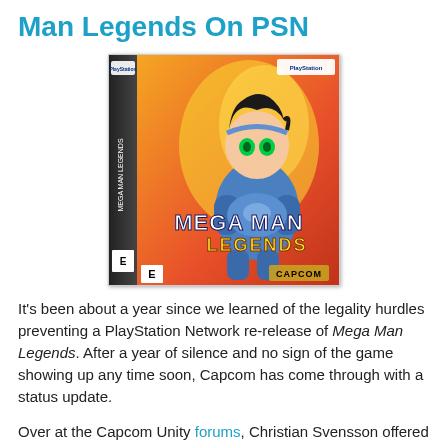Man Legends On PSN
[Figure (photo): Mega Man Legends PlayStation game box cover art showing a 3D animated blue-armored character with black hair and green eyes, title 'MEGA MAN LEGENDS', Capcom logo, rated E, on an orange/red background with PlayStation branding on the spine.]
It's been about a year since we learned of the legality hurdles preventing a PlayStation Network re-release of Mega Man Legends. After a year of silence and no sign of the game showing up any time soon, Capcom has come through with a status update.
Over at the Capcom Unity forums, Christian Svensson offered this brief, yet hopeful statement: "They are indeed taking longer than we'd hoped but we're still working them", referring to Mega Man Legends and Breath of Fire 3